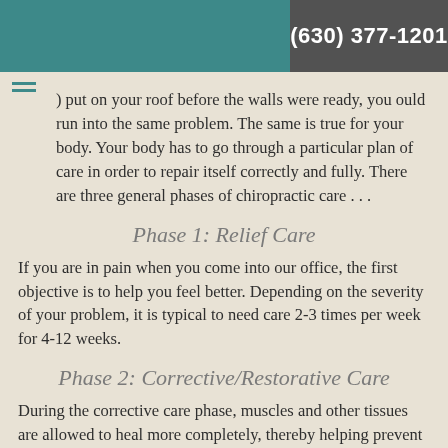(630) 377-1201
) put on your roof before the walls were ready, you ould run into the same problem. The same is true for your body. Your body has to go through a particular plan of care in order to repair itself correctly and fully. There are three general phases of chiropractic care . . .
Phase 1: Relief Care
If you are in pain when you come into our office, the first objective is to help you feel better. Depending on the severity of your problem, it is typical to need care 2-3 times per week for 4-12 weeks.
Phase 2: Corrective/Restorative Care
During the corrective care phase, muscles and other tissues are allowed to heal more completely, thereby helping prevent injury. It is typical to need care 4-8 times per month for 6-24 months,